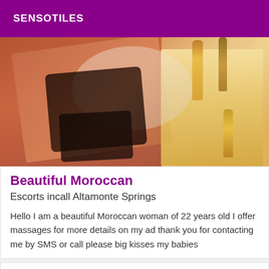SENSOTILES
[Figure (photo): Close-up photo of cosmetic items including bottles, a black handbag, and beauty products on a warm-toned surface with mirror reflection]
Beautiful Moroccan
Escorts incall Altamonte Springs
Hello I am a beautiful Moroccan woman of 22 years old I offer massages for more details on my ad thank you for contacting me by SMS or call please big kisses my babies
Verified